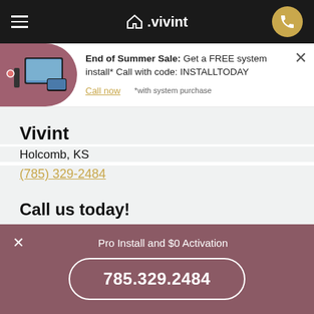△.vivint
End of Summer Sale: Get a FREE system install* Call with code: INSTALLTODAY
Call now   *with system purchase
Vivint
Holcomb, KS
(785) 329-2484
Call us today!
Mon-Fri   6am-11pm MT
Saturday  9am-9pm MT
Pro Install and $0 Activation
785.329.2484